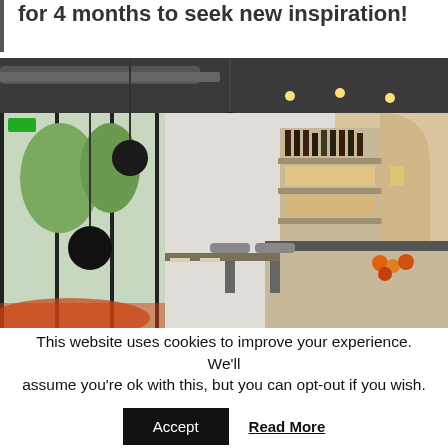for 4 months to seek new inspiration!
[Figure (photo): Interior of a modern restaurant/café with shelves of bottles and products, pendant lights, bar seating, and a counter with fruit. Large windows on the left side let in natural light.]
This website uses cookies to improve your experience. We'll assume you're ok with this, but you can opt-out if you wish. Accept  Read More